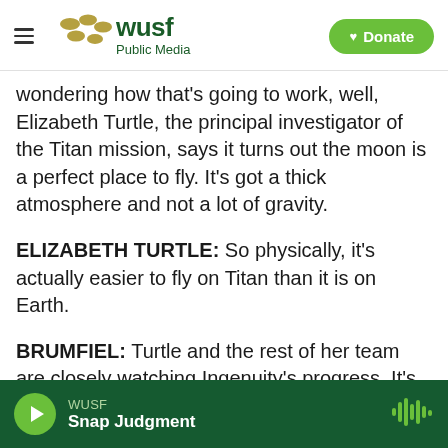WUSF Public Media | Donate
wondering how that's going to work, well, Elizabeth Turtle, the principal investigator of the Titan mission, says it turns out the moon is a perfect place to fly. It's got a thick atmosphere and not a lot of gravity.
ELIZABETH TURTLE: So physically, it's actually easier to fly on Titan than it is on Earth.
BRUMFIEL: Turtle and the rest of her team are closely watching Ingenuity's progress. It's a chance for them to learn about flying on other worlds. But also, she says, it's cool.
WUSF
Snap Judgment